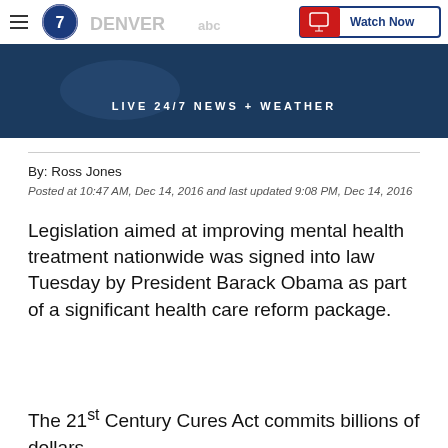[Figure (screenshot): Denver7 ABC news website header banner showing the station logo, 'DENVER' text, 'Watch Now' button, and 'LIVE 24/7 NEWS + WEATHER' tagline over a dark blue background]
By: Ross Jones
Posted at 10:47 AM, Dec 14, 2016 and last updated 9:08 PM, Dec 14, 2016
Legislation aimed at improving mental health treatment nationwide was signed into law Tuesday by President Barack Obama as part of a significant health care reform package.
The 21st Century Cures Act commits billions of dollars